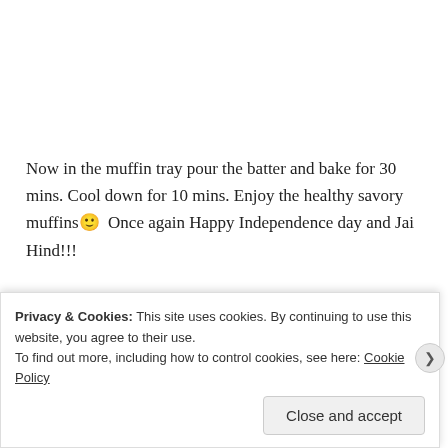Now in the muffin tray pour the batter and bake for 30 mins. Cool down for 10 mins. Enjoy the healthy savory muffins🙂  Once again Happy Independence day and Jai Hind!!!
Share this:
Privacy & Cookies: This site uses cookies. By continuing to use this website, you agree to their use.
To find out more, including how to control cookies, see here: Cookie Policy